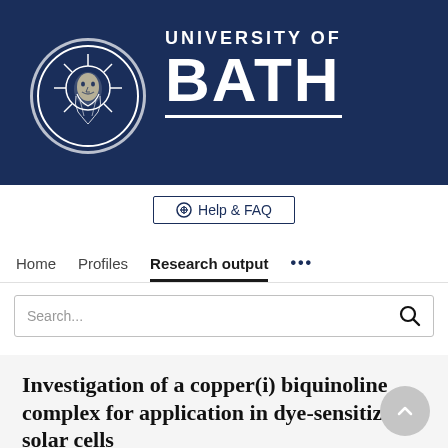[Figure (logo): University of Bath logo — dark navy banner with circular seal on left and 'UNIVERSITY OF BATH' text on right in white]
Help & FAQ
Home   Profiles   Research output   ...
Search...
Investigation of a copper(i) biquinoline complex for application in dye-sensitized solar cells